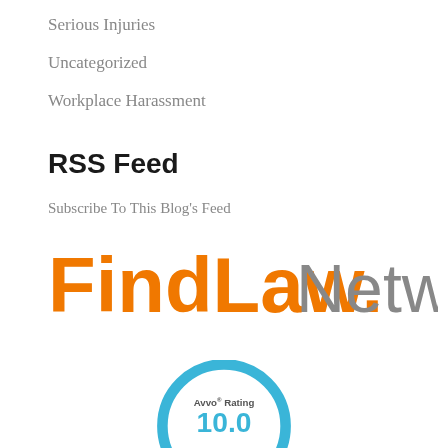Serious Injuries
Uncategorized
Workplace Harassment
RSS Feed
Subscribe To This Blog’s Feed
[Figure (logo): FindLaw Network logo with orange FindLaw. text and gray Network text]
[Figure (logo): Avvo Rating 10.0 badge, circular blue border, partially visible at bottom of page]